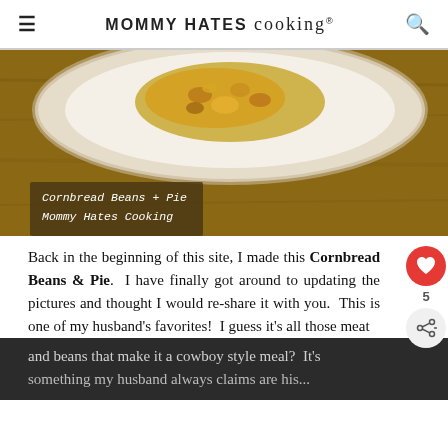MOMMY HATES cooking®
[Figure (photo): A white plate with cornbread beans and pie dish on a wooden surface. Overlay caption reads: Cornbread Beans + Pie / Mommy Hates Cooking]
Back in the beginning of this site, I made this Cornbread Beans & Pie.  I have finally got around to updating the pictures and thought I would re-share it with you.  This is one of my husband's favorites!  I guess it's all those meat and beans that make it a cowboy style meal?  It's something my husband always claims are his...